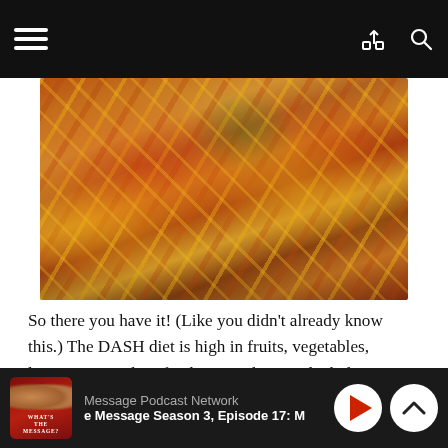[Figure (photo): Overhead close-up photo of various fast food and junk food items piled together, including items with melted cheese, meats, and colorful vegetables]
So there you have it! (Like you didn't already know this.) The DASH diet is high in fruits, vegetables, legumes, nuts, low-fat dairy products and whole grains. It is low in salt, sugary drinks and red and processed meats. People on this diet were less likely to develop gout than those who ate a typical “Western” diet.
Studies seem to support the fact that patients who ate a
Message Podcast Network · e Message Season 3, Episode 17: M